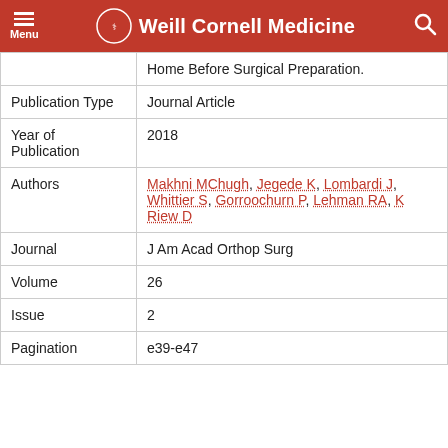Weill Cornell Medicine
|  | Home Before Surgical Preparation. |
| Publication Type | Journal Article |
| Year of Publication | 2018 |
| Authors | Makhni MChugh, Jegede K, Lombardi J, Whittier S, Gorroochurn P, Lehman RA, K Riew D |
| Journal | J Am Acad Orthop Surg |
| Volume | 26 |
| Issue | 2 |
| Pagination | e39-e47 |